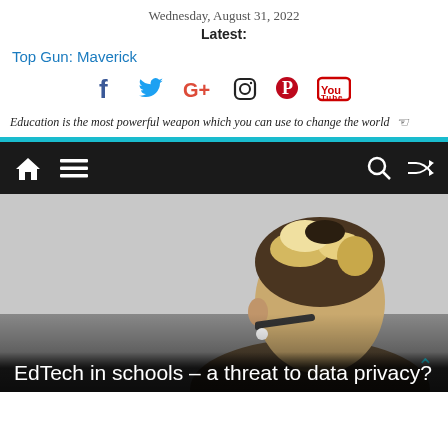Wednesday, August 31, 2022
Latest:
Top Gun: Maverick
[Figure (infographic): Social media icons: Facebook (blue), Twitter (light blue), Google+ (red), Instagram (dark outline), Pinterest (red), YouTube (red/white)]
Education is the most powerful weapon which you can use to change the world
[Figure (infographic): Navigation bar with home icon, hamburger menu icon on the left; search icon and shuffle icon on the right, on a dark/black background with a cyan top border]
[Figure (photo): Back view of a student with blonde-streaked hair wearing glasses and an earpiece, in a classroom-like setting]
EdTech in schools – a threat to data privacy?